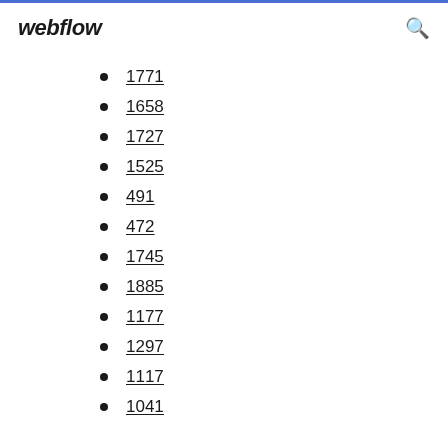webflow
1771
1658
1727
1525
491
472
1745
1885
1177
1297
1117
1041